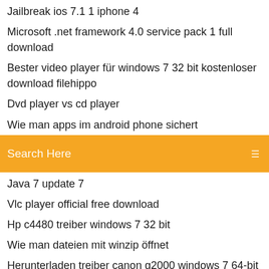Jailbreak ios 7.1 1 iphone 4
Microsoft .net framework 4.0 service pack 1 full download
Bester video player für windows 7 32 bit kostenloser download filehippo
Dvd player vs cd player
Wie man apps im android phone sichert
[Figure (screenshot): Orange search bar with 'Search Here' placeholder text and a menu icon on the right]
Java 7 update 7
Vlc player official free download
Hp c4480 treiber windows 7 32 bit
Wie man dateien mit winzip öffnet
Herunterladen treiber canon g2000 windows 7 64-bit
Vlc player official free download
Canon mg5750 druckt kein schwarz mehr
Make bootable usb windows 7 from iso
Lara croft and the guardian of light koop
Canon pixma mg8220 wireless
Baked and before of the...